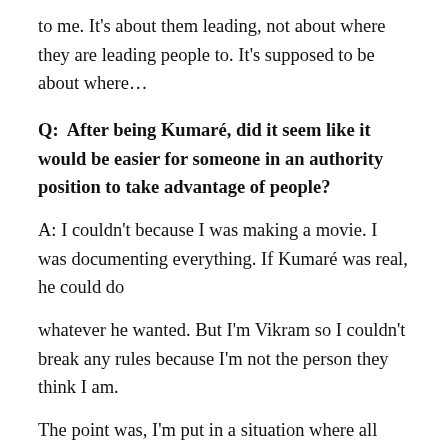to me. It's about them leading, not about where they are leading people to. It's supposed to be about where…
Q:  After being Kumaré, did it seem like it would be easier for someone in an authority position to take advantage of people?
A: I couldn't because I was making a movie. I was documenting everything. If Kumaré was real, he could do
whatever he wanted. But I'm Vikram so I couldn't break any rules because I'm not the person they think I am.
The point was, I'm put in a situation where all these things are at my fingertips in this movie and